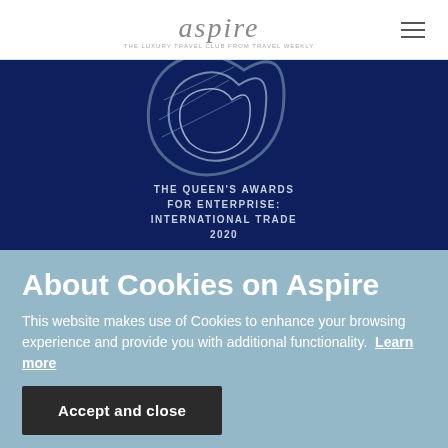aspire — THE LUXURY TRAVEL CLUB FROM TRAVEL WEEKLY
[Figure (logo): The Queen's Awards for Enterprise: International Trade 2020 logo on dark blue background with stylized crown/wave symbol]
Jacobs Media Group is honoured to be the recipient of the 2020
About Cookies on Aspire
This website makes use of Cookies to enhance your browsing experience and provide you with additional functionality.  Learn more
Accept and close